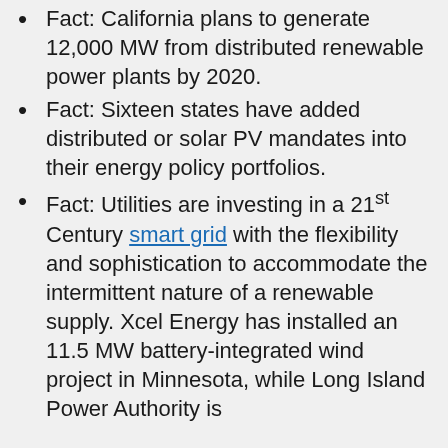Fact: California plans to generate 12,000 MW from distributed renewable power plants by 2020.
Fact: Sixteen states have added distributed or solar PV mandates into their energy policy portfolios.
Fact: Utilities are investing in a 21st Century smart grid with the flexibility and sophistication to accommodate the intermittent nature of a renewable supply. Xcel Energy has installed an 11.5 MW battery-integrated wind project in Minnesota, while Long Island Power Authority is